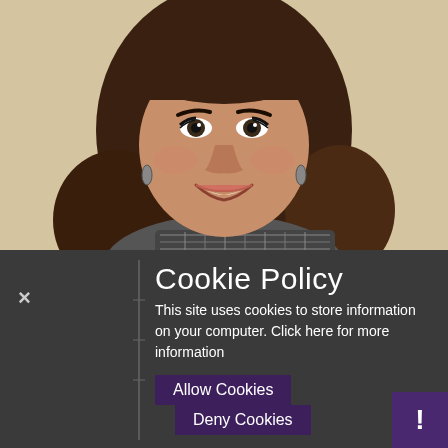[Figure (photo): Headshot photo of a young woman with long brown hair, smiling, wearing a plaid scarf, against a light beige background]
Cookie Policy
This site uses cookies to store information on your computer. Click here for more information
Allow Cookies
Deny Cookies